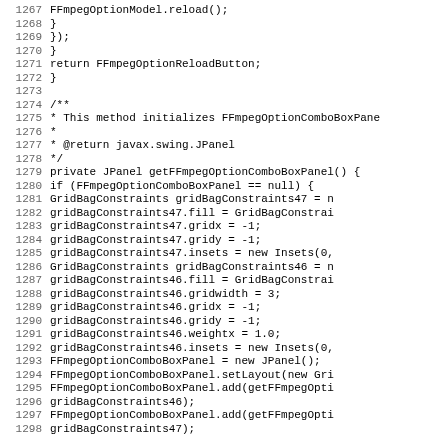Code listing lines 1267-1298, Java source code showing FFmpegOptionComboBoxPanel initialization